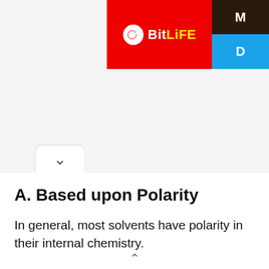[Figure (screenshot): BitLife app advertisement banner in top-right corner with red background, yellow and white bold text reading BitLife, alongside a dark brown and blue section with letters M and D visible.]
A. Based upon Polarity
In general, most solvents have polarity in their internal chemistry.